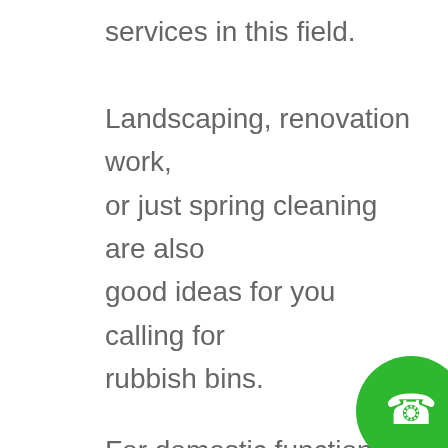services in this field. Landscaping, renovation work, or just spring cleaning are also good ideas for you calling for rubbish bins.
For domestic functions, you should look into bins that range from two cubic metres to ten cubic metres in size. A ramp door is probably a good idea
[Figure (illustration): Green circular phone/call button with white telephone handset icon in the bottom-right corner of the page]